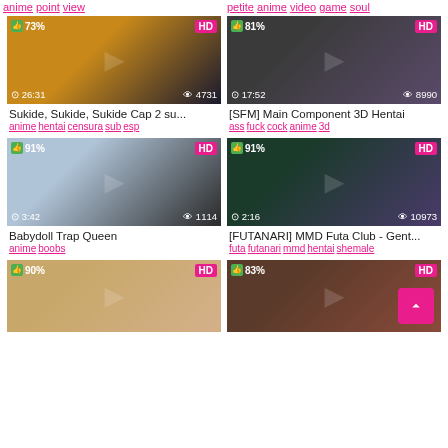anime point view | petite anime video game soul
[Figure (screenshot): Anime thumbnail 73% HD 26:31 4731 views - Sukide, Sukide, Sukide Cap 2 su...]
Sukide, Sukide, Sukide Cap 2 su...
anime hentai censura sub esp
[Figure (screenshot): SFM 3D thumbnail 81% HD 17:52 8990 views - [SFM] Main Component 3D Hentai]
[SFM] Main Component 3D Hentai
ass fuck cock anime 3d
[Figure (screenshot): 3D animation thumbnail 91% HD 3:42 1114 views - Babydoll Trap Queen]
Babydoll Trap Queen
anime boobs
[Figure (screenshot): Futanari thumbnail 91% HD 2:16 10973 views - [FUTANARI] MMD Futa Club - Gent...]
[FUTANARI] MMD Futa Club - Gent...
futa futanari mmd hentai shemale
[Figure (screenshot): Toy thumbnail 90% HD - partial view]
[Figure (screenshot): Muscle thumbnail 83% HD - partial view]